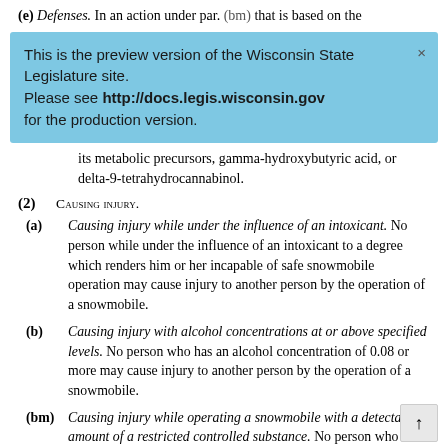(e) Defenses. In an action under par. (bm) that is based on the
This is the preview version of the Wisconsin State Legislature site. Please see http://docs.legis.wisconsin.gov for the production version.
its metabolic precursors, gamma-hydroxybutyric acid, or delta-9-tetrahydrocannabinol.
(2) CAUSING INJURY.
(a) Causing injury while under the influence of an intoxicant. No person while under the influence of an intoxicant to a degree which renders him or her incapable of safe snowmobile operation may cause injury to another person by the operation of a snowmobile.
(b) Causing injury with alcohol concentrations at or above specified levels. No person who has an alcohol concentration of 0.08 or more may cause injury to another person by the operation of a snowmobile.
(bm) Causing injury while operating a snowmobile with a detectable amount of a restricted controlled substance. No person who has a detectable amount of a restricted controlled substance in his or her blood may cause injury to another person by the operation of a snowmobile.
(c) Related charges. A person may be charged with and a